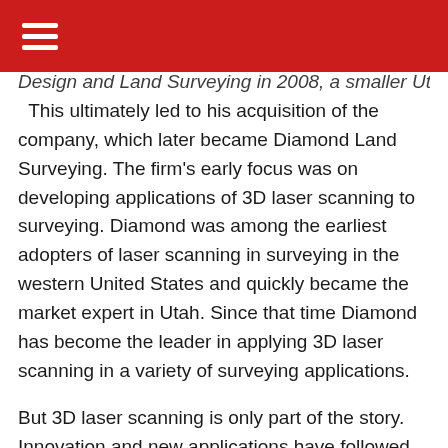[hamburger menu icon on red header bar]
Design and Land Surveying in 2008, a smaller Utah firm. This ultimately led to his acquisition of the company, which later became Diamond Land Surveying. The firm's early focus was on developing applications of 3D laser scanning to surveying. Diamond was among the earliest adopters of laser scanning in surveying in the western United States and quickly became the market expert in Utah. Since that time Diamond has become the leader in applying 3D laser scanning in a variety of surveying applications.
But 3D laser scanning is only part of the story. Innovation and new applications have followed Diamond in each traditional aspect of surveying. This is demonstrated in the Civil + Structural Engineer digest published in 2009, featuring Diamond's work on monitoring cranes at Chevron's Salt Lake City refinery.